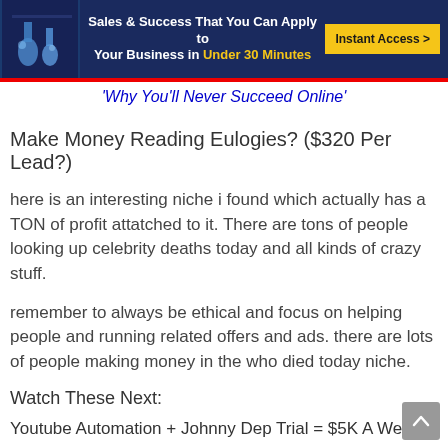[Figure (infographic): Banner ad: 'Sales & Success That You Can Apply to Your Business in Under 30 Minutes' with Instant Access button on dark blue background with red bar beneath]
'Why You'll Never Succeed Online'
Make Money Reading Eulogies? ($320 Per Lead?)
here is an interesting niche i found which actually has a TON of profit attatched to it. There are tons of people looking up celebrity deaths today and all kinds of crazy stuff.
remember to always be ethical and focus on helping people and running related offers and ads. there are lots of people making money in the who died today niche.
Watch These Next:
Youtube Automation + Johnny Dep Trial = $5K A Week?